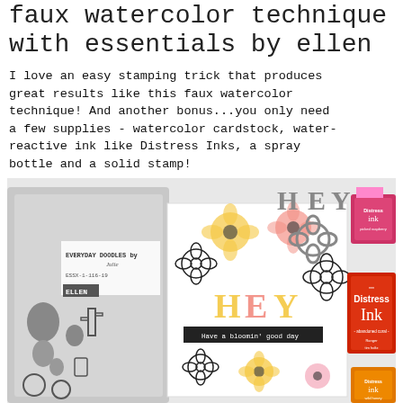faux watercolor technique with essentials by ellen
I love an easy stamping trick that produces great results like this faux watercolor technique! And another bonus...you only need a few supplies - watercolor cardstock, water-reactive ink like Distress Inks, a spray bottle and a solid stamp!
[Figure (photo): Photo showing crafting supplies: a stamp set labeled 'Everyday Doodles by Ellen', Distress Ink pads in pink/hot pink (Distress Ink), orange-red (Distress Ink - abandoned coral), and orange/yellow; die-cut letters spelling HEY in gray; a completed card with watercolor flowers and colorful HEY letters, sentiment reading 'Have a bloomin' good day']